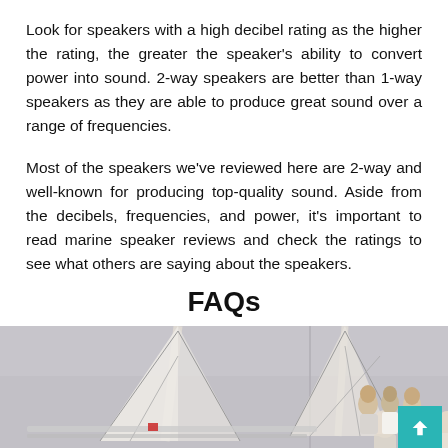Look for speakers with a high decibel rating as the higher the rating, the greater the speaker's ability to convert power into sound. 2-way speakers are better than 1-way speakers as they are able to produce great sound over a range of frequencies.
Most of the speakers we've reviewed here are 2-way and well-known for producing top-quality sound. Aside from the decibels, frequencies, and power, it's important to read marine speaker reviews and check the ratings to see what others are saying about the speakers.
FAQs
[Figure (photo): Photo of people on a sailboat, with masts and rigging visible. A man and two women are on the deck. A teal back-to-top button is in the bottom right corner.]